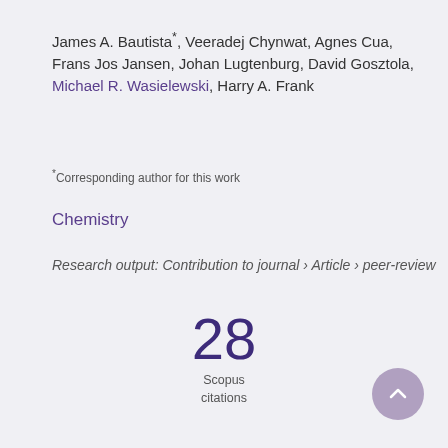James A. Bautista*, Veeradej Chynwat, Agnes Cua, Frans Jos Jansen, Johan Lugtenburg, David Gosztola, Michael R. Wasielewski, Harry A. Frank
*Corresponding author for this work
Chemistry
Research output: Contribution to journal › Article › peer-review
28 Scopus citations